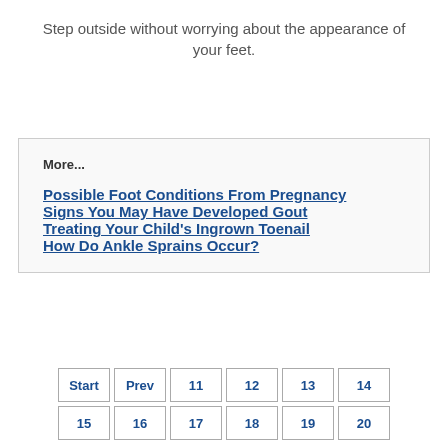Step outside without worrying about the appearance of your feet.
More...
Possible Foot Conditions From Pregnancy
Signs You May Have Developed Gout
Treating Your Child's Ingrown Toenail
How Do Ankle Sprains Occur?
Start  Prev  11  12  13  14  15  16  17  18  19  20